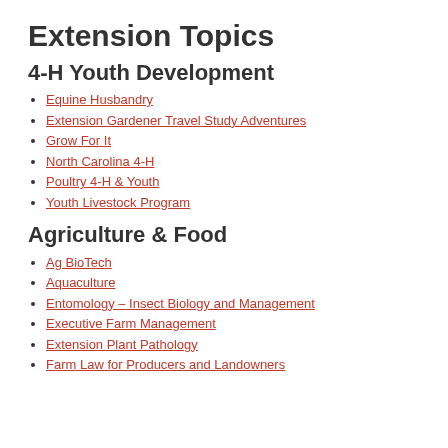Extension Topics
4-H Youth Development
Equine Husbandry
Extension Gardener Travel Study Adventures
Grow For It
North Carolina 4-H
Poultry 4-H & Youth
Youth Livestock Program
Agriculture & Food
Ag BioTech
Aquaculture
Entomology – Insect Biology and Management
Executive Farm Management
Extension Plant Pathology
Farm Law for Producers and Landowners